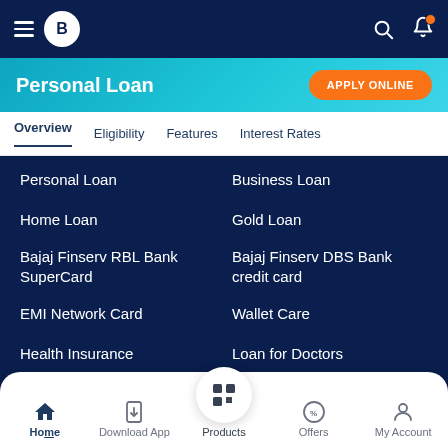Bajaj Finserv - hamburger menu, logo, search, notification icons
Personal Loan
APPLY ONLINE
Overview | Eligibility | Features | Interest Rates
Personal Loan
Business Loan
Home Loan
Gold Loan
Bajaj Finserv RBL Bank SuperCard
Bajaj Finserv DBS Bank credit card
EMI Network Card
Wallet Care
Health Insurance
Loan for Doctors
Fixed Deposit
Loan Against Property
Loan for Chartered Accountants
Online Trading
Home | Download App | Products | Offers | My Account